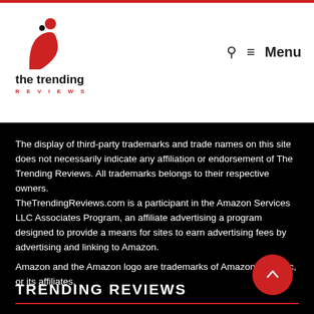[Figure (logo): The Trending Reviews logo — red stylized letter b/person icon above the text 'the trending REVIEWS']
The display of third-party trademarks and trade names on this site does not necessarily indicate any affiliation or endorsement of The Trending Reviews. All trademarks belongs to their respective owners.
TheTrendingReviews.com is a participant in the Amazon Services LLC Associates Program, an affiliate advertising a program designed to provide a means for sites to earn advertising fees by advertising and linking to Amazon.
Amazon and the Amazon logo are trademarks of Amazon.com, Inc, or its affiliates.
TRENDING REVIEWS